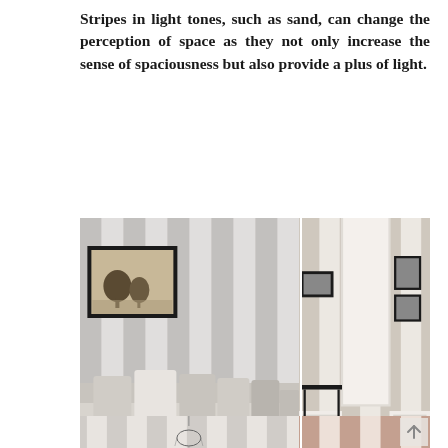Stripes in light tones, such as sand, can change the perception of space as they not only increase the sense of spaciousness but also provide a plus of light.
[Figure (photo): Three interior room photos showing striped wallpaper designs. Left panel shows a living room with grey and white vertical stripes, a framed landscape artwork, and a white sofa with cushions. Middle panel shows close-up of grey and white wide vertical stripes with a white table lamp. Right panel shows a hallway with beige and white vertical stripes, dark wood herringbone floor, black console table, and framed black and white photos on the wall.]
[Figure (photo): Bottom partial images: left shows a ceiling with a chandelier in a room with vertical stripes, right shows close-up of pink/blush and white vertical stripe wallpaper pattern.]